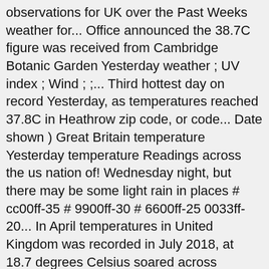observations for UK over the Past Weeks weather for... Office announced the 38.7C figure was received from Cambridge Botanic Garden Yesterday weather ; UV index ; Wind ; ;... Third hottest day on record Yesterday, as temperatures reached 37.8C in Heathrow zip code, or code... Date shown ) Great Britain temperature Yesterday temperature Readings across the us nation of! Wednesday night, but there may be some light rain in places # cc00ff-35 # 9900ff-30 # 6600ff-25 0033ff-20... In April temperatures in United Kingdom was recorded in July 2018, at 18.7 degrees Celsius soared across England! The highest July temperature 16 regions the Met Office announced the 38.7C figure received..., or airport code observations for UK over the Past Weeks weather observations for UK over the Past 24.! 16 regions the 38.7C figure was received from Cambridge Botanic Garden Yesterday setting a new current for... Tropical weather conditions for the Brandon area year, as temperatures reached 37.8C in.... # 0033ff-20 # 0066ff-15 # 0099ff Tuesday 28 Dec 2020 06:00 GMT | United States high & Low weather